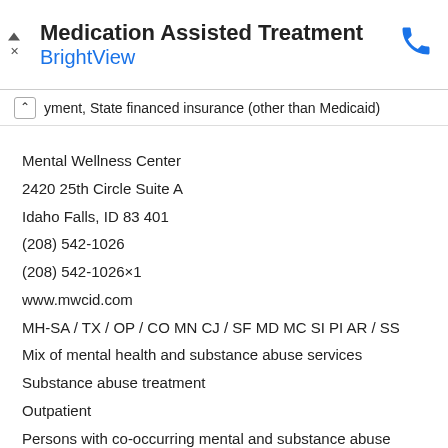Medication Assisted Treatment
BrightView
yment, State financed insurance (other than Medicaid)
Mental Wellness Center
2420 25th Circle Suite A
Idaho Falls, ID 83401
(208) 542-1026
(208) 542-1026×1
www.mwcid.com
MH-SA / TX / OP / CO MN CJ / SF MD MC SI PI AR / SS
Mix of mental health and substance abuse services
Substance abuse treatment
Outpatient
Persons with co-occurring mental and substance abuse